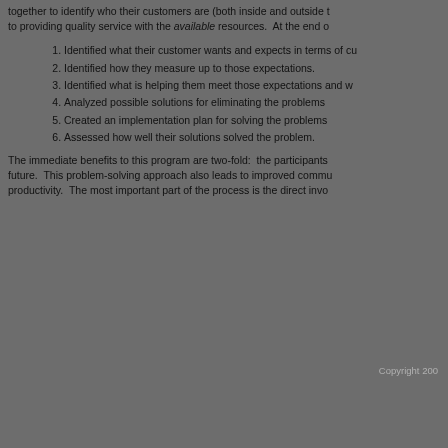together to identify who their customers are (both inside and outside t to providing quality service with the available resources.  At the end o
1. Identified what their customer wants and expects in terms of cu
2. Identified how they measure up to those expectations.
3. Identified what is helping them meet those expectations and w
4. Analyzed possible solutions for eliminating the problems
5. Created an implementation plan for solving the problems
6. Assessed how well their solutions solved the problem.
The immediate benefits to this program are two-fold:  the participants future.  This problem-solving approach also leads to improved commu productivity.  The most important part of the process is the direct invo
Copyright 200